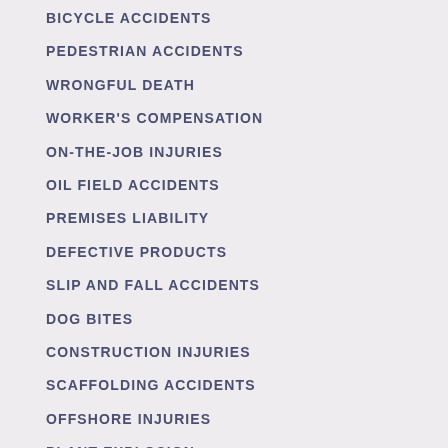BICYCLE ACCIDENTS
PEDESTRIAN ACCIDENTS
WRONGFUL DEATH
WORKER'S COMPENSATION
ON-THE-JOB INJURIES
OIL FIELD ACCIDENTS
PREMISES LIABILITY
DEFECTIVE PRODUCTS
SLIP AND FALL ACCIDENTS
DOG BITES
CONSTRUCTION INJURIES
SCAFFOLDING ACCIDENTS
OFFSHORE INJURIES
PLANT EXPLOSION